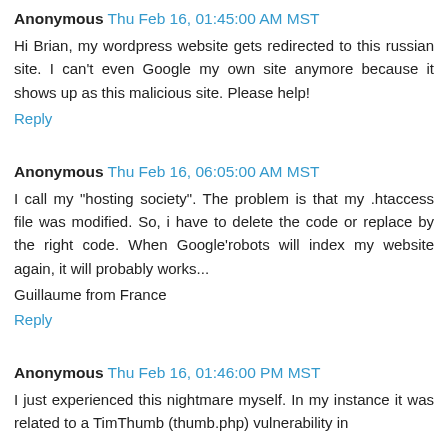Anonymous Thu Feb 16, 01:45:00 AM MST
Hi Brian, my wordpress website gets redirected to this russian site. I can't even Google my own site anymore because it shows up as this malicious site. Please help!
Reply
Anonymous Thu Feb 16, 06:05:00 AM MST
I call my "hosting society". The problem is that my .htaccess file was modified. So, i have to delete the code or replace by the right code. When Google'robots will index my website again, it will probably works...
Guillaume from France
Reply
Anonymous Thu Feb 16, 01:46:00 PM MST
I just experienced this nightmare myself. In my instance it was related to a TimThumb (thumb.php) vulnerability in